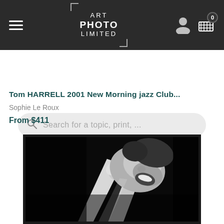ART PHOTO LIMITED
Search for a topic, print, ...
Tom HARRELL 2001 New Morning jazz Club...
Sophie Le Roux
From $411
[Figure (photo): Black and white dramatic photograph of a jazz musician (Tom Harrell) playing trumpet, face tilted back with eyes closed, hands gripping the instrument, shot from below against a dark background.]